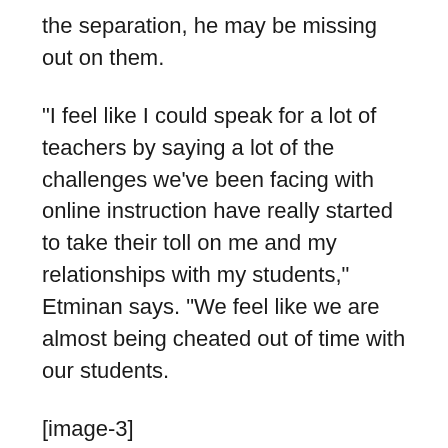the separation, he may be missing out on them.
“I feel like I could speak for a lot of teachers by saying a lot of the challenges we’ve been facing with online instruction have really started to take their toll on me and my relationships with my students,” Etminan says. “We feel like we are almost being cheated out of time with our students.
[image-3]
“How do you replicate that online? How do you replicate congratulating a student for their performance in the school musical? Or talking